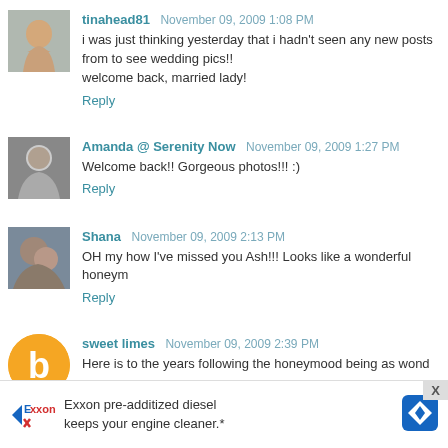tinahead81  November 09, 2009 1:08 PM
i was just thinking yesterday that i hadn't seen any new posts from to see wedding pics!!
welcome back, married lady!
Reply
Amanda @ Serenity Now  November 09, 2009 1:27 PM
Welcome back!! Gorgeous photos!!! :)
Reply
Shana  November 09, 2009 2:13 PM
OH my how I've missed you Ash!!! Looks like a wonderful honeym
Reply
sweet limes  November 09, 2009 2:39 PM
Here is to the years following the honeymoon being as wond
[Figure (infographic): Exxon advertisement banner: Exxon logo, text 'Exxon pre-additized diesel keeps your engine cleaner.*', blue diamond direction sign icon, and X close button]